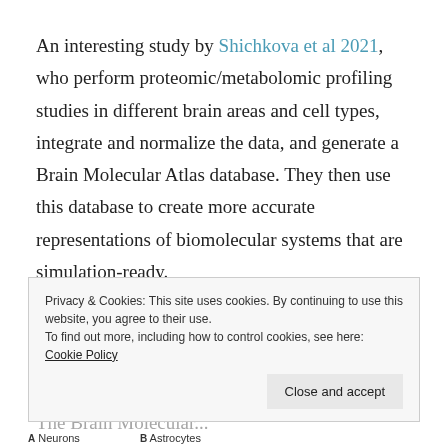An interesting study by Shichkova et al 2021, who perform proteomic/metabolomic profiling studies in different brain areas and cell types, integrate and normalize the data, and generate a Brain Molecular Atlas database. They then use this database to create more accurate representations of biomolecular systems that are simulation-ready.
An accurate molecular concentration database is a prerequisite for creating data-driven computational models of biochemical processes. The Brain Molecular...
Privacy & Cookies: This site uses cookies. By continuing to use this website, you agree to their use.
To find out more, including how to control cookies, see here: Cookie Policy
Close and accept
A Neurons    B Astrocytes